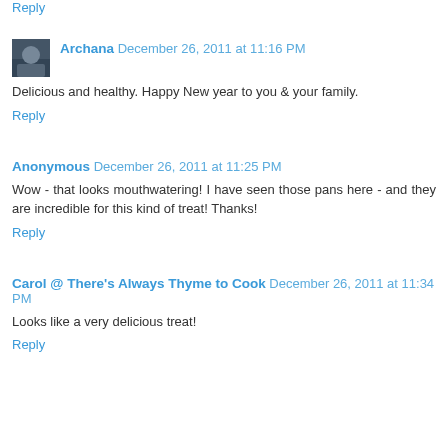Reply
Archana  December 26, 2011 at 11:16 PM
Delicious and healthy. Happy New year to you & your family.
Reply
Anonymous  December 26, 2011 at 11:25 PM
Wow - that looks mouthwatering! I have seen those pans here - and they are incredible for this kind of treat! Thanks!
Reply
Carol @ There's Always Thyme to Cook  December 26, 2011 at 11:34 PM
Looks like a very delicious treat!
Reply